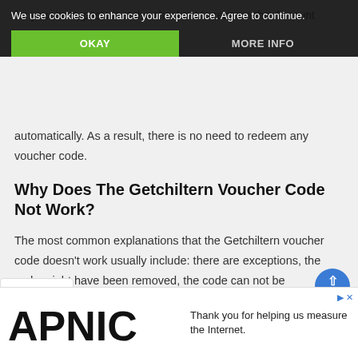We use cookies to enhance your experience. Agree to continue.
automatically. As a result, there is no need to redeem any voucher code.
Why Does The Getchiltern Voucher Code Not Work?
The most common explanations that the Getchiltern voucher code doesn't work usually include: there are exceptions, the code might have been removed, the code can not be transmitted or may only be redeemed once. It's also probable that your order didn't fulfill the conditions of paying a certain sum of money.
How Do I Get More Getchiltern Discounts
asiest way to save some extra cash is to sign up for the
[Figure (other): APNIC advertisement banner with logo and text 'Thank you for helping us measure the Internet.']